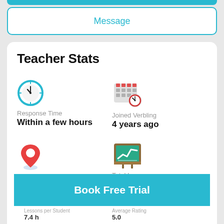[Figure (other): Cropped blue button bar at top]
Message
Teacher Stats
[Figure (illustration): Clock icon with teal circle border representing Response Time]
Response Time
Within a few hours
[Figure (illustration): Calendar icon with small clock overlay representing Joined Verbling]
Joined Verbling
4 years ago
[Figure (illustration): Red location pin icon representing Attendance Rate]
Attendance Rate
98.00%
[Figure (illustration): Green chalkboard with chart icon representing Total Lessons]
Total Lessons
88
Book Free Trial
Lessons per Student
7.4 h
Average Rating
5.0